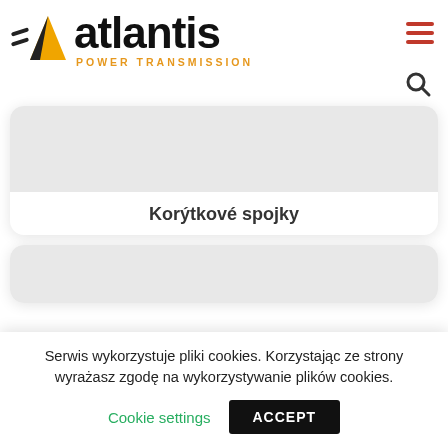[Figure (logo): Atlantis Power Transmission logo with yellow/black triangle icon and bold black 'atlantis' wordmark with orange 'POWER TRANSMISSION' subtitle]
[Figure (illustration): Product card with grey image placeholder for Korýtkové spojky (trough couplings)]
Korýtkové spojky
[Figure (illustration): Second product card partially visible at bottom, grey image area]
Serwis wykorzystuje pliki cookies. Korzystając ze strony wyrażasz zgodę na wykorzystywanie plików cookies.
Cookie settings   ACCEPT